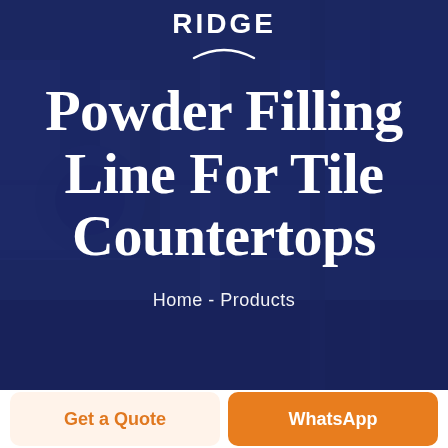[Figure (photo): Industrial machinery/powder filling equipment in a factory, with a dark navy blue overlay. Shows robotic arms, conveyor equipment, and manufacturing components.]
RIDGE
Powder Filling Line For Tile Countertops
Home - Products
Get a Quote
WhatsApp